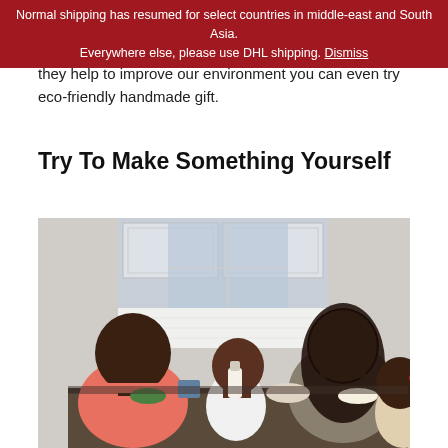Normal shipping has resumed for select countries in middle-east and South Asia. Everywhere else, please use DHL shipping. Dismiss
they help to improve our environment you can even try eco-friendly handmade gift.
Try To Make Something Yourself
[Figure (photo): A family of four — a man in a pink shirt, a woman with long dark hair, and two children — gathered around a kitchen table engaged in a cooking or crafting activity. Bright kitchen background with white cabinets.]